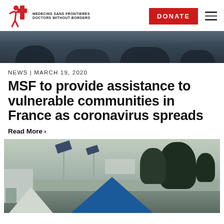MEDECINS SANS FRONTIERES DOCTORS WITHOUT BORDERS | DONATE
[Figure (photo): Top banner photo showing people on the ground, dark tones]
NEWS | MARCH 19, 2020
MSF to provide assistance to vulnerable communities in France as coronavirus spreads
Read More ›
[Figure (photo): Photo of a refugee camp with blue tent, trees, solar panels, and white structures in the background]